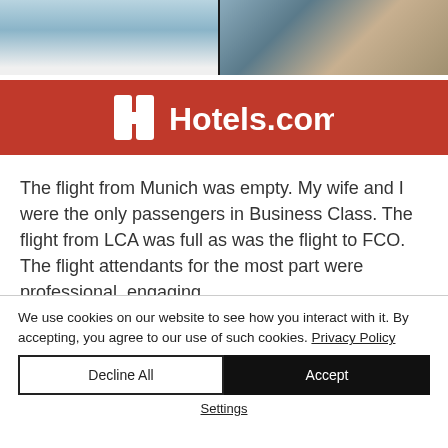[Figure (photo): Split photo showing hotel interior: left side shows a light blue/white surface, right side shows a warm-toned wooden surface, divided by a dark vertical line]
[Figure (logo): Hotels.com logo — white H icon and 'Hotels.com' text on red background]
The flight from Munich was empty. My wife and I were the only passengers in Business Class. The flight from LCA was full as was the flight to FCO. The flight attendants for the most part were professional, engaging
We use cookies on our website to see how you interact with it. By accepting, you agree to our use of such cookies. Privacy Policy
Decline All
Accept
Settings